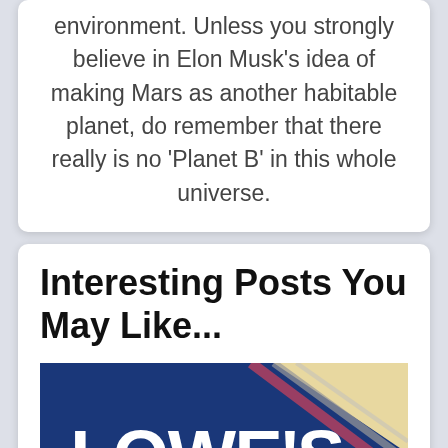environment. Unless you strongly believe in Elon Musk's idea of making Mars as another habitable planet, do remember that there really is no 'Planet B' in this whole universe.
Interesting Posts You May Like...
[Figure (photo): Lowe's Home Improvement store sign/logo photograph with blue background and beige corner]